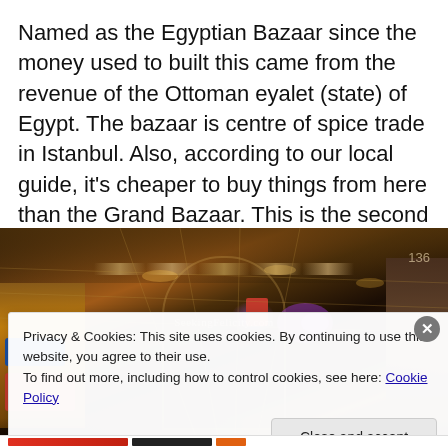Named as the Egyptian Bazaar since the money used to built this came from the revenue of the Ottoman eyalet (state) of Egypt. The bazaar is centre of spice trade in Istanbul. Also, according to our local guide, it's cheaper to buy things from here than the Grand Bazaar. This is the second largest covered bazaar in Istanbul.
[Figure (photo): Interior corridor of the Egyptian Bazaar (Spice Bazaar) in Istanbul at night, showing shop fronts, colorful signs, arched ceiling with lattice metalwork, purple and warm lighting. Watermark reads SeekingFelicity.com.]
Privacy & Cookies: This site uses cookies. By continuing to use this website, you agree to their use.
To find out more, including how to control cookies, see here: Cookie Policy
Close and accept